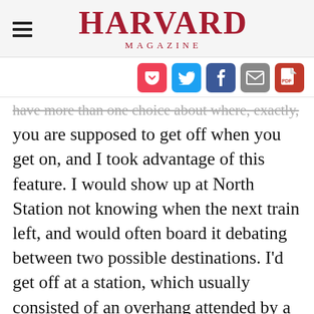HARVARD MAGAZINE
[Figure (other): Social sharing icons: Pocket, Twitter, Facebook, Email, PDF]
have more than one choice about where, exactly,
you are supposed to get off when you get on, and I took advantage of this feature. I would show up at North Station not knowing when the next train left, and would often board it debating between two possible destinations. I'd get off at a station, which usually consisted of an overhang attended by a Dunkin' Donuts and several sallow old men in hunting hats. People would scatter, then, and I'd follow whatever seemed to be the largest group in the hope of reaching the town's center. Town centers usually have tourist offices, and tourist